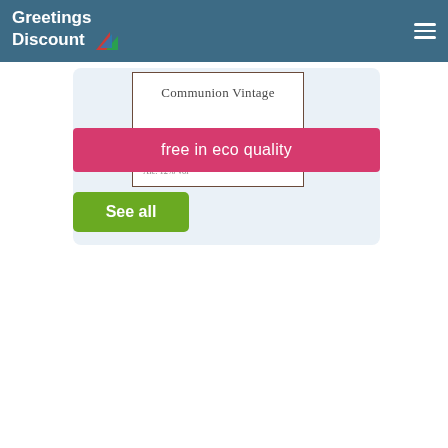Greetings Discount
[Figure (photo): A wine bottle label showing 'Communion Vintage', Alc. 12% Vol, 75 cl inside a product card with light blue background]
free in eco quality
See all